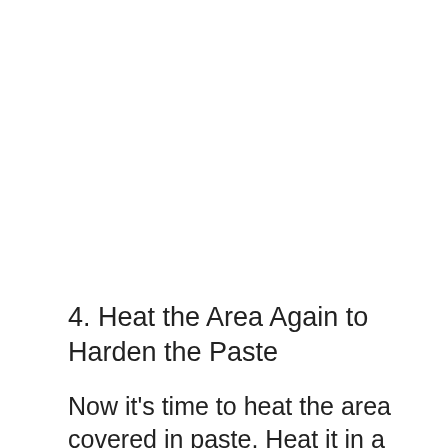4. Heat the Area Again to Harden the Paste
Now it's time to heat the area covered in paste. Heat it in a temperature of